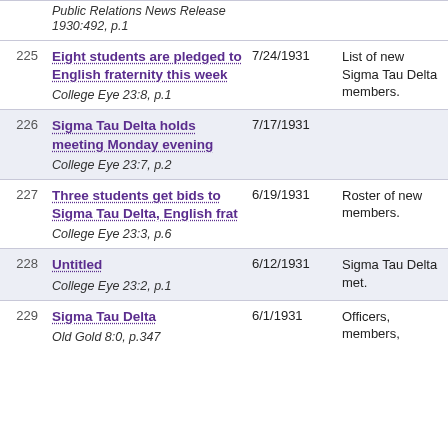| # | Title / Source | Date | Description |
| --- | --- | --- | --- |
|  | Public Relations News Release 1930:492, p.1 |  |  |
| 225 | Eight students are pledged to English fraternity this week
College Eye 23:8, p.1 | 7/24/1931 | List of new Sigma Tau Delta members. |
| 226 | Sigma Tau Delta holds meeting Monday evening
College Eye 23:7, p.2 | 7/17/1931 |  |
| 227 | Three students get bids to Sigma Tau Delta, English frat
College Eye 23:3, p.6 | 6/19/1931 | Roster of new members. |
| 228 | Untitled
College Eye 23:2, p.1 | 6/12/1931 | Sigma Tau Delta met. |
| 229 | Sigma Tau Delta
Old Gold 8:0, p.347 | 6/1/1931 | Officers, members, |